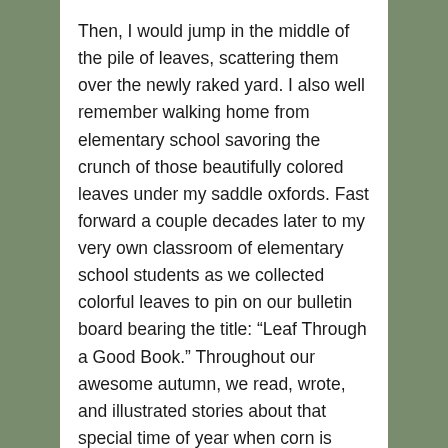Then, I would jump in the middle of the pile of leaves, scattering them over the newly raked yard. I also well remember walking home from elementary school savoring the crunch of those beautifully colored leaves under my saddle oxfords. Fast forward a couple decades later to my very own classroom of elementary school students as we collected colorful leaves to pin on our bulletin board bearing the title: “Leaf Through a Good Book.” Throughout our awesome autumn, we read, wrote, and illustrated stories about that special time of year when corn is harvested, hours of daylight become shorter, and animals begin gathering and hunting in preparation for a time of less abundance of food. I still have leaves to rake and magically turn into veggie-loving soil by composting them in what will become a springtime garden.